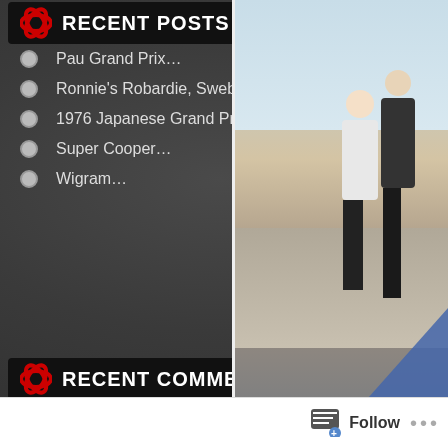RECENT POSTS
Pau Grand Prix…
Ronnie's Robardie, Swebe and Tecno…
1976 Japanese Grand Prix…
Super Cooper…
Wigram…
RECENT COMMENTS
markbisset on 1967: Hulme, Stewart and Clark…
markbisset on Pau Grand Prix…
perolov stellan olss… on 1967: Hulme, Stewart and Clark…
Chris Blanden on Pau Grand Prix…
David Thompson on 1976 Japanese Grand Prix…
[Figure (photo): Two people standing outdoors near a car, vintage photo style]
Follow …